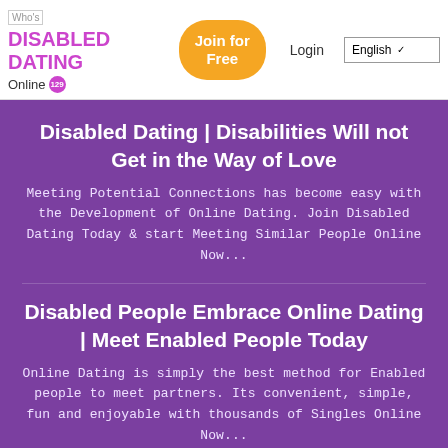DISABLED DATING | Who's Online 129 | Join for Free | Login | English
Disabled Dating | Disabilities Will not Get in the Way of Love
Meeting Potential Connections has become easy with the Development of Online Dating. Join Disabled Dating Today & start Meeting Similar People Online Now...
Disabled People Embrace Online Dating | Meet Enabled People Today
Online Dating is simply the best method for Enabled people to meet partners. Its convenient, simple, fun and enjoyable with thousands of Singles Online Now...
Are you disabled, single and looking for